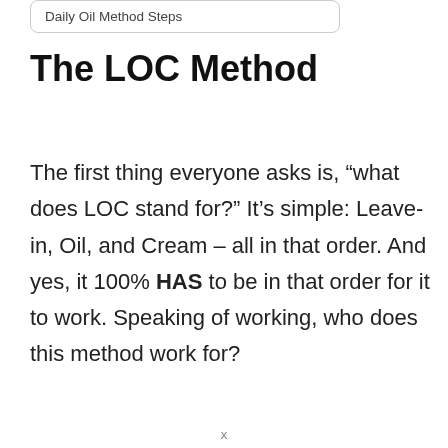Daily Oil Method Steps
The LOC Method
The first thing everyone asks is, “what does LOC stand for?” It’s simple: Leave-in, Oil, and Cream – all in that order. And yes, it 100% HAS to be in that order for it to work. Speaking of working, who does this method work for?